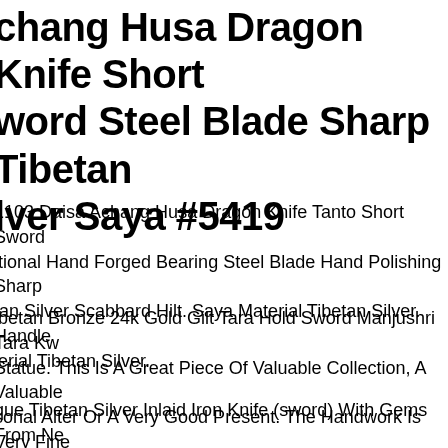chang Husa Dragon Knife Short word Steel Blade Sharp Tibetan lver Saya #5419
1103 Daisa Achang Husa Dragon Knife Tanto Short Sword itional Hand Forged Bearing Steel Blade Hand Polishing Sharp tan Silver Scabbard Hilt. Saya Material Tibetan Silver. Handle ierial Tibetan Silver.
ibetan Bronze 24k Gold Gilt Tara Hold Sword Manjushri Tara Kw Statue. This Is A Great Piece Of Valuable Collection, A Valuable sonal Alter Or A Very Good Present. The Handwork Is Very Fine n Incredible Detailing. Don't Miss Out This Chance To Get It. Wis Good Lucky!
que Tibetan Silver Inlaid Iron Knife (sword) With Gems From Ne Exquisite Tibetan Iron Knife Is Inlaid With Silver And Beads. Tibetan Silver Inlaid Iron Knife (sword)ll...